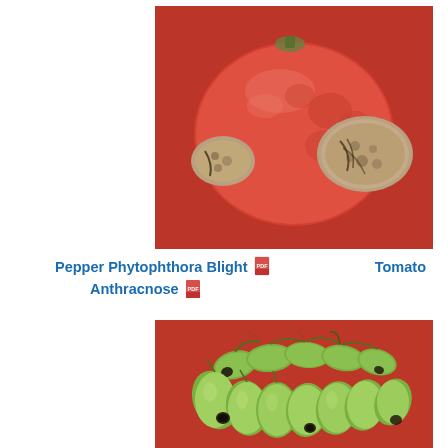[Figure (photo): Close-up photograph of a red tomato/pepper showing Phytophthora Blight disease with large brownish necrotic lesions on a red background.]
Pepper Phytophthora Blight   Tomato Anthracnose
[Figure (photo): Photograph of small green elongated tomatoes (cherry/grape type) on a red surface, showing dark anthracnose lesions on the blossom ends.]